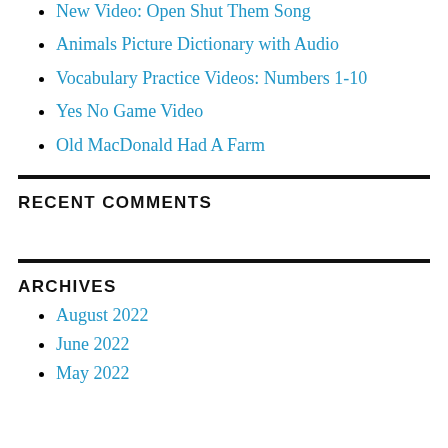New Video: Open Shut Them Song
Animals Picture Dictionary with Audio
Vocabulary Practice Videos: Numbers 1-10
Yes No Game Video
Old MacDonald Had A Farm
RECENT COMMENTS
ARCHIVES
August 2022
June 2022
May 2022